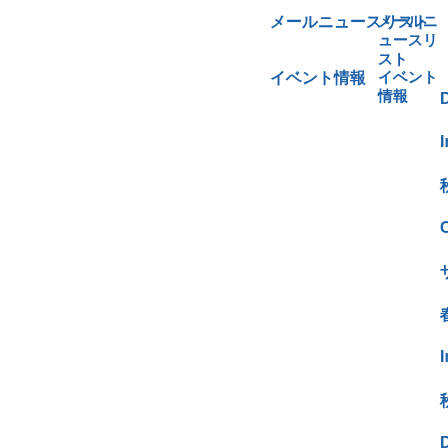メールニュースリスト
イベント情報
Dar
Inte
秋の
OTC
サウ
春の
Inte
秋の
Dar
九州
サウ
OTC
春の
Inte
秋の